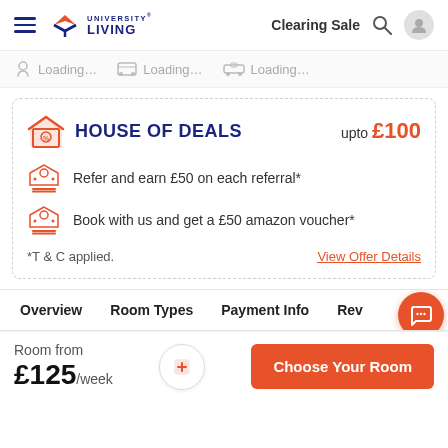University Living — Clearing Sale
Loading... Loading... Loading...
HOUSE OF DEALS — upto £100
Refer and earn £50 on each referral*
Book with us and get a £50 amazon voucher*
*T & C applied.
View Offer Details
Overview   Room Types   Payment Info   Revi...
Room from
£125/week
Choose Your Room